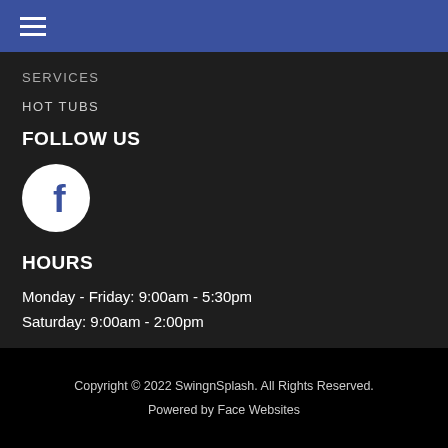[Figure (screenshot): Blue header bar with hamburger menu icon (three horizontal lines) in white]
SERVICES
HOT TUBS
FOLLOW US
[Figure (logo): Facebook icon - white 'f' letter on a white circle with dark background]
HOURS
Monday - Friday: 9:00am - 5:30pm
Saturday: 9:00am - 2:00pm
Copyright © 2022 SwingnSplash. All Rights Reserved.
Powered by Face Websites